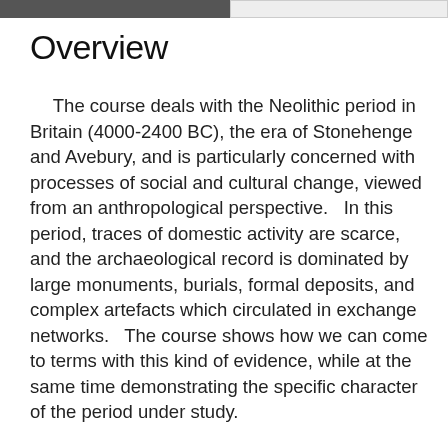Overview
The course deals with the Neolithic period in Britain (4000-2400 BC), the era of Stonehenge and Avebury, and is particularly concerned with processes of social and cultural change, viewed from an anthropological perspective.   In this period, traces of domestic activity are scarce, and the archaeological record is dominated by large monuments, burials, formal deposits, and complex artefacts which circulated in exchange networks.   The course shows how we can come to terms with this kind of evidence, while at the same time demonstrating the specific character of the period under study.
The intention of this course is to provide a detailed regional study, which considers the ways in which different…